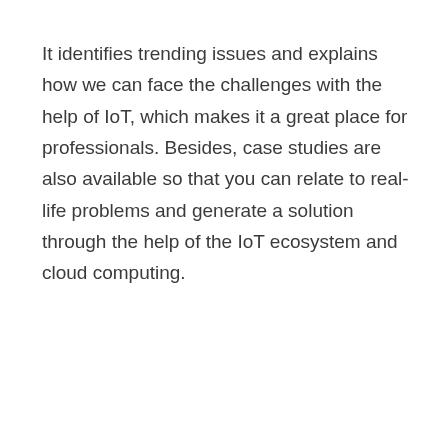It identifies trending issues and explains how we can face the challenges with the help of IoT, which makes it a great place for professionals. Besides, case studies are also available so that you can relate to real-life problems and generate a solution through the help of the IoT ecosystem and cloud computing.